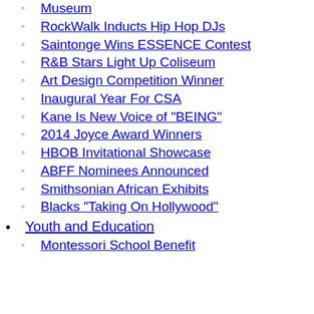Museum
RockWalk Inducts Hip Hop DJs
Saintonge Wins ESSENCE Contest
R&B Stars Light Up Coliseum
Art Design Competition Winner
Inaugural Year For CSA
Kane Is New Voice of "BEING"
2014 Joyce Award Winners
HBOB Invitational Showcase
ABFF Nominees Announced
Smithsonian African Exhibits
Blacks "Taking On Hollywood"
Youth and Education
Montessori School Benefit